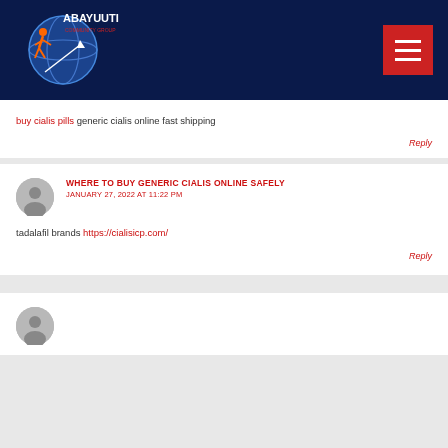Abayuuti Community Group
buy cialis pills generic cialis online fast shipping
Reply
WHERE TO BUY GENERIC CIALIS ONLINE SAFELY
JANUARY 27, 2022 AT 11:22 PM
tadalafil brands https://cialisicp.com/
Reply